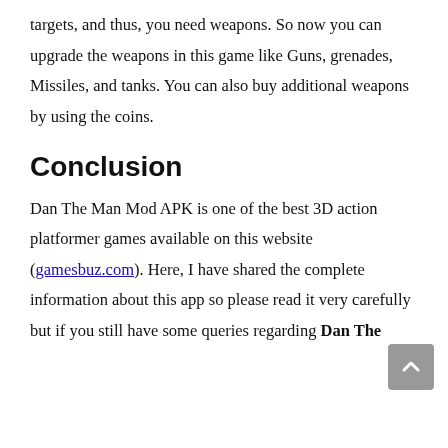targets, and thus, you need weapons. So now you can upgrade the weapons in this game like Guns, grenades, Missiles, and tanks. You can also buy additional weapons by using the coins.
Conclusion
Dan The Man Mod APK is one of the best 3D action platformer games available on this website (gamesbuz.com). Here, I have shared the complete information about this app so please read it very carefully but if you still have some queries regarding Dan The